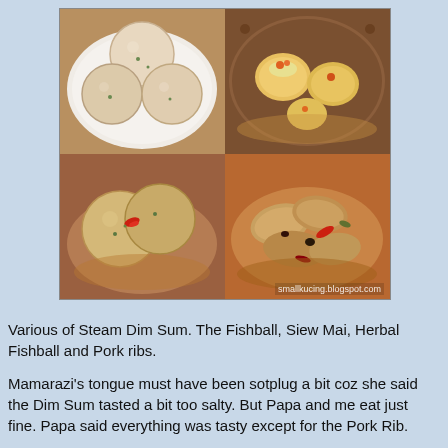[Figure (photo): A 2x2 grid of food photos showing various steamed dim sum: top-left shows fishballs on a white plate, top-right shows Siew Mai in a bamboo steamer, bottom-left shows Herbal Fishballs with chili, bottom-right shows Pork Ribs. Watermark reads smallkucing.blogspot.com]
Various of Steam Dim Sum. The Fishball, Siew Mai, Herbal Fishball and Pork ribs.
Mamarazi's tongue must have been sotplug a bit coz she said the Dim Sum tasted a bit too salty. But Papa and me eat just fine. Papa said everything was tasty except for the Pork Rib.